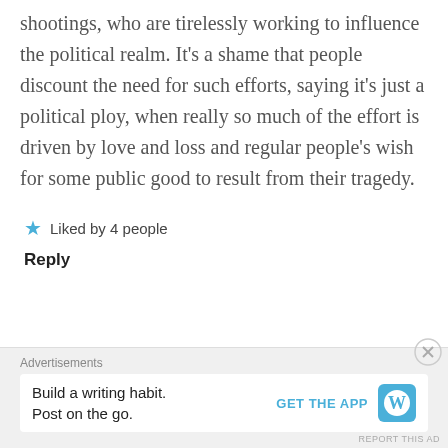shootings, who are tirelessly working to influence the political realm. It's a shame that people discount the need for such efforts, saying it's just a political ploy, when really so much of the effort is driven by love and loss and regular people's wish for some public good to result from their tragedy.
Liked by 4 people
Reply
Advertisements
Build a writing habit. Post on the go.
GET THE APP